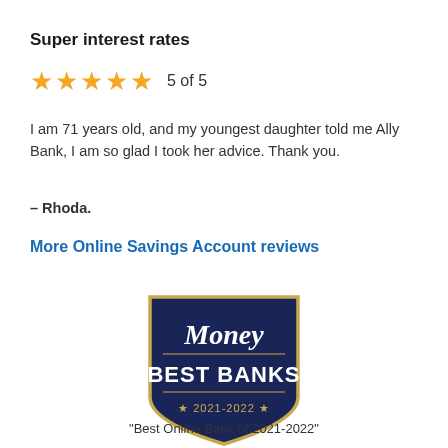Super interest rates
[Figure (infographic): Five gold star rating with text '5 of 5']
I am 71 years old, and my youngest daughter told me Ally Bank, I am so glad I took her advice. Thank you.
– Rhoda.
More Online Savings Account reviews
[Figure (logo): Money Best Banks 2021-2022 shield badge in navy blue and gold]
"Best Online Bank of 2021-2022"